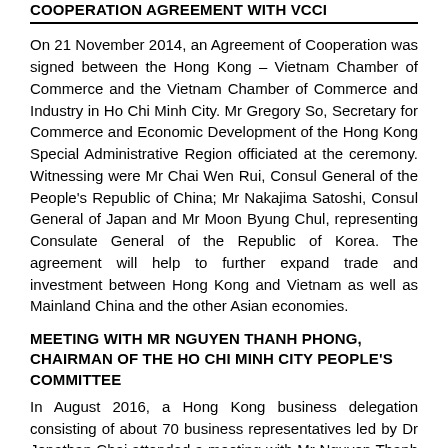COOPERATION AGREEMENT WITH VCCI
On 21 November 2014, an Agreement of Cooperation was signed between the Hong Kong – Vietnam Chamber of Commerce and the Vietnam Chamber of Commerce and Industry in Ho Chi Minh City. Mr Gregory So, Secretary for Commerce and Economic Development of the Hong Kong Special Administrative Region officiated at the ceremony. Witnessing were Mr Chai Wen Rui, Consul General of the People's Republic of China; Mr Nakajima Satoshi, Consul General of Japan and Mr Moon Byung Chul, representing Consulate General of the Republic of Korea. The agreement will help to further expand trade and investment between Hong Kong and Vietnam as well as Mainland China and the other Asian economies.
MEETING WITH MR NGUYEN THANH PHONG, CHAIRMAN OF THE HO CHI MINH CITY PEOPLE'S COMMITTEE
In August 2016, a Hong Kong business delegation consisting of about 70 business representatives led by Dr Jonathan Choi attended a meeting with Mr Nguyen Thanh Phong, Chairman of the Ho Chi
Minh City People's Committee, to discuss about cooperation and investment opportunities between Hong Kong and Vietnam.